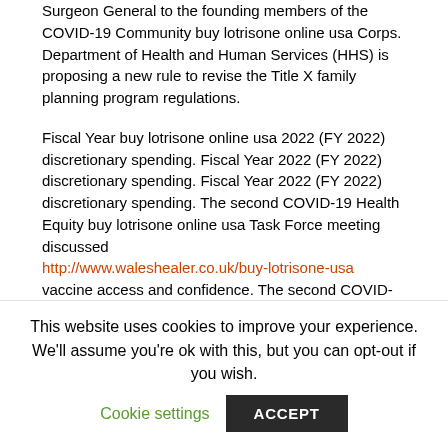Surgeon General to the founding members of the COVID-19 Community buy lotrisone online usa Corps. Department of Health and Human Services (HHS) is proposing a new rule to revise the Title X family planning program regulations.
Fiscal Year buy lotrisone online usa 2022 (FY 2022) discretionary spending. Fiscal Year 2022 (FY 2022) discretionary spending. Fiscal Year 2022 (FY 2022) discretionary spending. The second COVID-19 Health Equity buy lotrisone online usa Task Force meeting discussed http://www.waleshealer.co.uk/buy-lotrisone-usa vaccine access and confidence. The second COVID-
This website uses cookies to improve your experience. We'll assume you're ok with this, but you can opt-out if you wish. Cookie settings ACCEPT